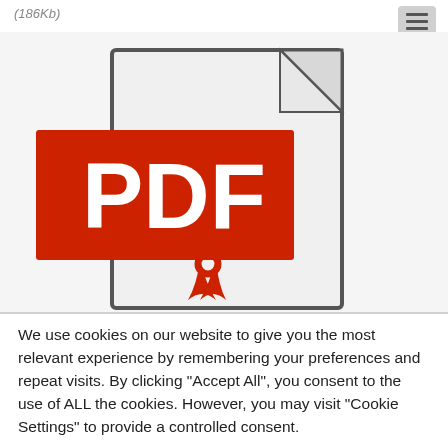(186Kb)
[Figure (illustration): PDF file icon: a document outline with folded corner (top right) and a red banner across the middle with white text 'PDF', and a red ribbon/bookmark hanging below the banner.]
We use cookies on our website to give you the most relevant experience by remembering your preferences and repeat visits. By clicking "Accept All", you consent to the use of ALL the cookies. However, you may visit "Cookie Settings" to provide a controlled consent.
Cookie Settings | Accept All